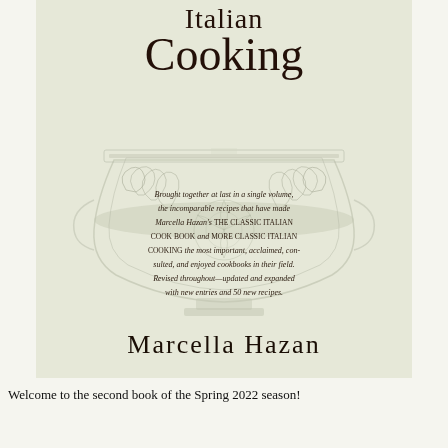[Figure (illustration): Book cover of 'Essentials of Classic Italian Cooking' by Marcella Hazan. Features large serif title text 'Italian Cooking' overlaid on a decorative classical urn/bowl illustration with floral and leaf motifs. The background is a muted sage/cream color. Below the bowl is descriptive italic text about the book contents. Author name 'Marcella Hazan' appears at the bottom of the cover.]
Welcome to the second book of the Spring 2022 season!